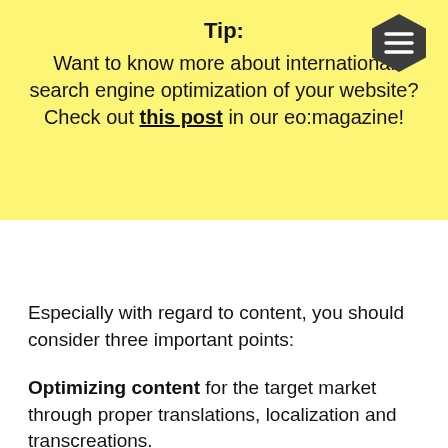Tip: Want to know more about international search engine optimization of your website? Check out this post in our eo:magazine!
Especially with regard to content, you should consider three important points:
Optimizing content for the target market through proper translations, localization and transcreations.